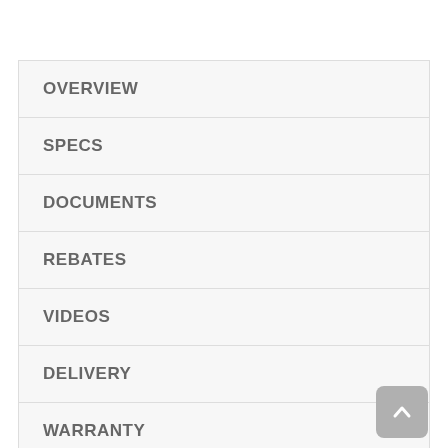OVERVIEW
SPECS
DOCUMENTS
REBATES
VIDEOS
DELIVERY
WARRANTY
REVIEWS (46)